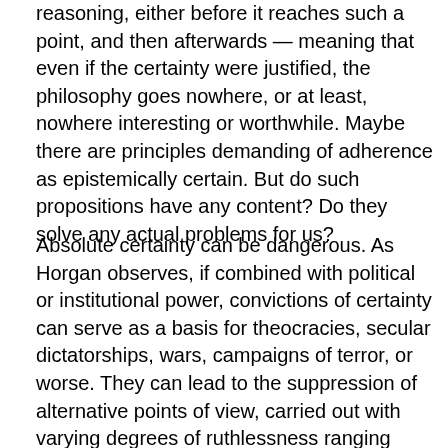reasoning, either before it reaches such a point, and then afterwards — meaning that even if the certainty were justified, the philosophy goes nowhere, or at least, nowhere interesting or worthwhile. Maybe there are principles demanding of adherence as epistemically certain. But do such propositions have any content? Do they solve any actual problems for us?
Absolute certainty can be dangerous. As Horgan observes, if combined with political or institutional power, convictions of certainty can serve as a basis for theocracies, secular dictatorships, wars, campaigns of terror, or worse. They can lead to the suppression of alternative points of view, carried out with varying degrees of ruthlessness ranging from mere public ridicule and ostracism to house arrest (Galileo) to legal incarceration of or even the cold-blooded murder of dissidents. One thinks